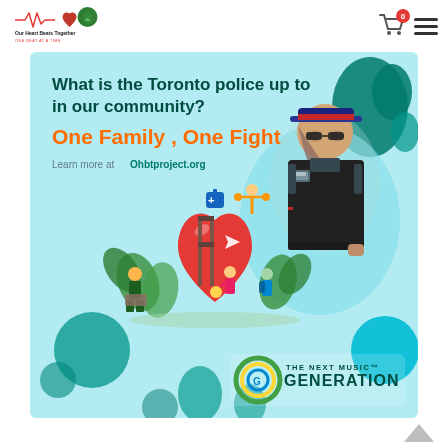Our Heart Beats Together — One Beat at a Time
[Figure (illustration): Community health and policing promotional banner. Teal/light-blue background with decorative organic shapes. Text reads 'What is the Toronto police up to in our community?' in dark teal, 'One Family , One Fight' in bright orange, 'Learn more at Ohbtproject.org' in teal. Left side shows colorful community illustration with large red heart, people gardening and exercising. Right side shows photo of female Toronto police officer in uniform. Bottom right shows 'THE NEXT MUSIC GENERATION' logo with circular G graphic.]